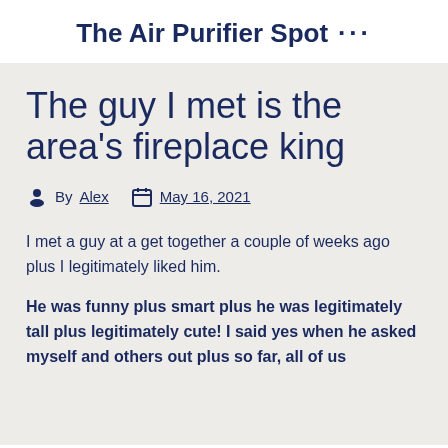The Air Purifier Spot ···
The guy I met is the area's fireplace king
By Alex  May 16, 2021
I met a guy at a get together a couple of weeks ago plus I legitimately liked him.
He was funny plus smart plus he was legitimately tall plus legitimately cute! I said yes when he asked myself and others out plus so far, all of us